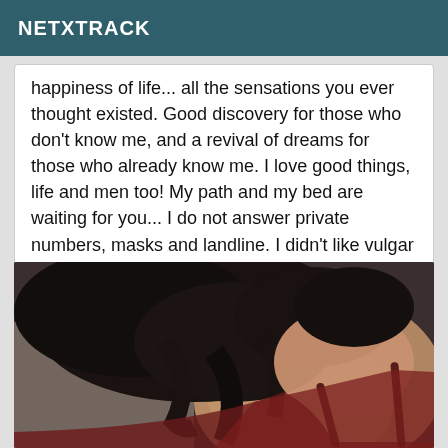NETXTRACK
happiness of life... all the sensations you ever thought existed. Good discovery for those who don't know me, and a revival of dreams for those who already know me. I love good things, life and men too! My path and my bed are waiting for you... I do not answer private numbers, masks and landline. I didn't like vulgar calls. Please abstain. Sweet, kisses
[Figure (photo): Close-up photo of a woman with dark hair, wearing a dark red/maroon top, photographed from behind/side showing neck and shoulder area.]